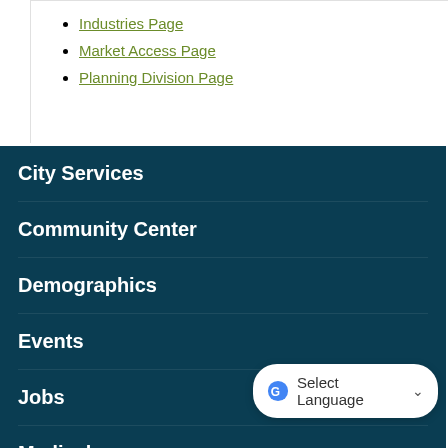Industries Page
Market Access Page
Planning Division Page
City Services
Community Center
Demographics
Events
Jobs
Medical